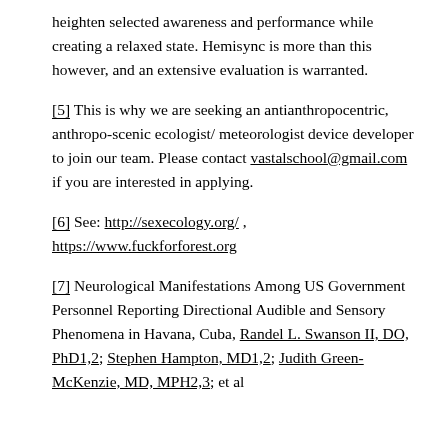heighten selected awareness and performance while creating a relaxed state. Hemisync is more than this however, and an extensive evaluation is warranted.
[5] This is why we are seeking an antianthropocentric, anthropo-scenic ecologist/ meteorologist device developer to join our team. Please contact vastalschool@gmail.com if you are interested in applying.
[6] See: http://sexecology.org/ ,  https://www.fuckforforest.org
[7] Neurological Manifestations Among US Government Personnel Reporting Directional Audible and Sensory Phenomena in Havana, Cuba, Randel L. Swanson II, DO, PhD1,2; Stephen Hampton, MD1,2; Judith Green-McKenzie, MD, MPH2,3; et al